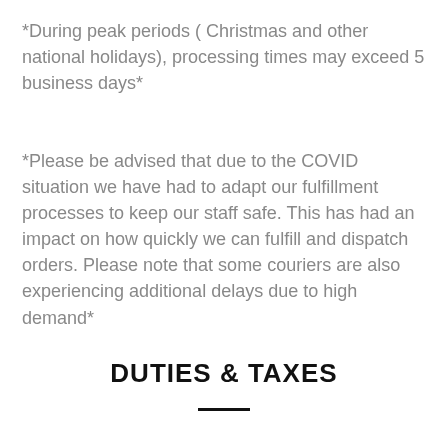*During peak periods ( Christmas and other national holidays), processing times may exceed 5 business days*
*Please be advised that due to the COVID situation we have had to adapt our fulfillment processes to keep our staff safe. This has had an impact on how quickly we can fulfill and dispatch orders. Please note that some couriers are also experiencing additional delays due to high demand*
DUTIES & TAXES